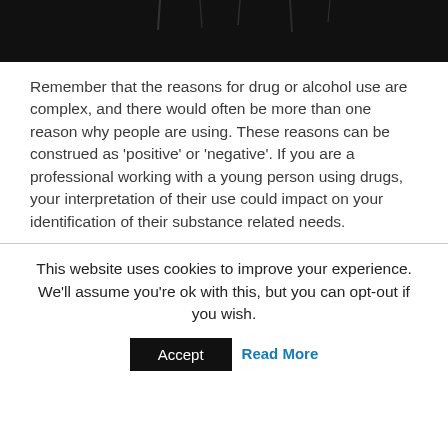[Figure (photo): Dark/black image at top of page, partially visible, appears to show a silhouette or dark scene]
Remember that the reasons for drug or alcohol use are complex, and there would often be more than one reason why people are using. These reasons can be construed as ‘positive’ or ‘negative’. If you are a professional working with a young person using drugs, your interpretation of their use could impact on your identification of their substance related needs.
This website uses cookies to improve your experience. We’ll assume you’re ok with this, but you can opt-out if you wish.
Accept   Read More